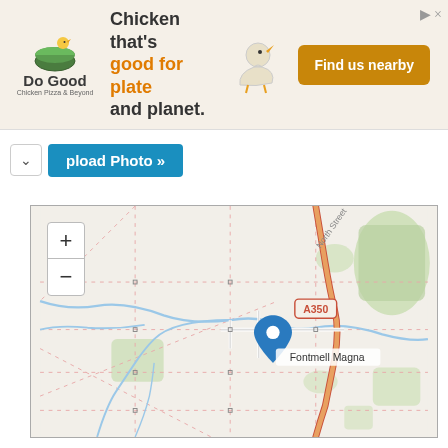[Figure (infographic): Do Good Chicken advertisement banner. Logo on left with stylized chicken bowl icon and text 'Do Good' with tagline. Center text reads 'Chicken that’s good for plate and planet.' in bold with orange highlight. Cartoon chicken icon. Orange 'Find us nearby' button on right.]
[Figure (screenshot): Partial web interface showing an Upload Photo button (blue) and a collapse arrow button, partially cropped.]
[Figure (map): OpenStreetMap view centered on Fontmell Magna, showing road A350 in orange/red, North Street label, green areas, blue waterways, dotted minor roads, and a blue location pin marker over Fontmell Magna label. Zoom +/- controls in top-left.]